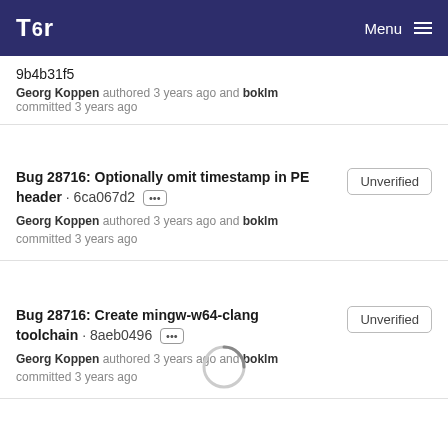Tor — Menu
9b4b31f5
Georg Koppen authored 3 years ago and boklm committed 3 years ago
Bug 28716: Optionally omit timestamp in PE header · 6ca067d2 ··· Georg Koppen authored 3 years ago and boklm committed 3 years ago
Bug 28716: Create mingw-w64-clang toolchain · 8aeb0496 ··· Georg Koppen authored 3 years ago and boklm committed 3 years ago
[Figure (other): Loading spinner circle indicator]